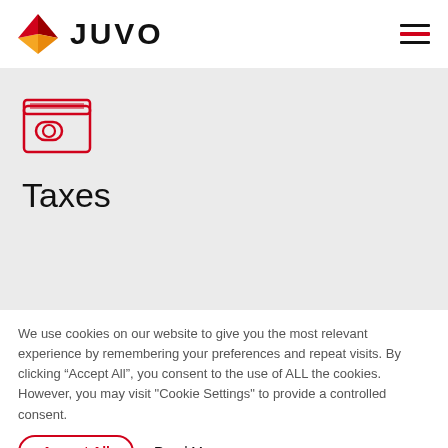JUVO
[Figure (illustration): Red outlined wallet icon with a coin slot]
Taxes
We use cookies on our website to give you the most relevant experience by remembering your preferences and repeat visits. By clicking “Accept All”, you consent to the use of ALL the cookies. However, you may visit "Cookie Settings" to provide a controlled consent.